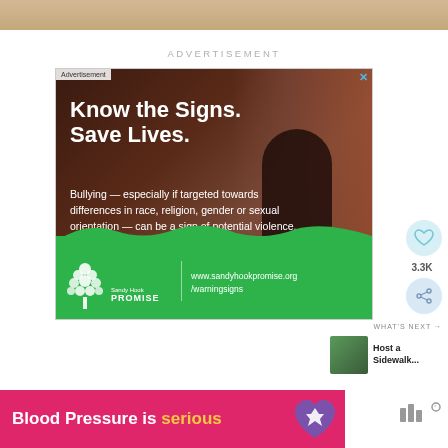[Figure (photo): Top strip showing a blurred brownish textured background image]
ADVERTISEMENT
[Figure (infographic): Sandy Hook Promise advertisement: 'Know the Signs. Save Lives.' with image of person sitting against brick wall. Dark background with green wave bottom section. Text reads: Bullying — especially if targeted towards differences in race, religion, gender or sexual orientation — can be a sign of potential violence. Logo: Sandy Hook Promise, www.sandyhookpromise.org/warningsigns]
[Figure (infographic): Heart/like button icon in light blue circle, count 3.3K, share icon in light blue circle]
3.3K
WHAT'S NEXT →
Host a Sidewalk...
[Figure (photo): Small thumbnail image of person for 'What's Next' section]
[Figure (infographic): Pink banner ad at bottom: 'Blood Pressure is serious' with purple heart icon with lightning bolt symbol]
[Figure (logo): Small logo/icon at bottom right, grey colored]